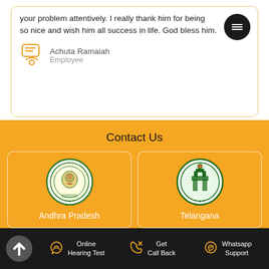your problem attentively. I really thank him for being so nice and wish him all success in life. God bless him.
Achuta Ramaiah
Employee
Contact Us
[Figure (logo): Andhra Pradesh government seal]
Andhra Pradesh
[Figure (logo): Telangana government seal]
Telangana
Online Hearing Test | Get Call Back | Whatsapp Support